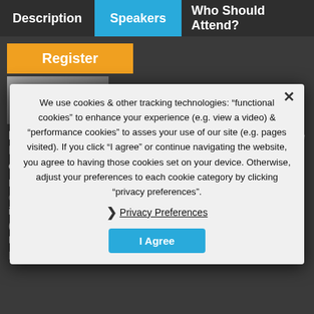Description | Speakers | Who Should Attend?
Register
[Figure (photo): Partial photo of a speaker (head and shoulders, blurred/cropped)]
Pradeep Nathan MA, PhD, MRACl, CChem, FCP, Vice President, Neuroscience Scientific Strategy, Janssen and Director of Innovation, ...
Pradeep Nathan is a physician ... with more than ... He has held positions in academia and industry, including most recent positions as Professor of Neuroscience (Monash ...) and Senior Director and Director, Neuroscience Discovery Medicine at UCB Pharma and GSK, respectively. His primary research interests are in translational pharmacology ...
We use cookies & other tracking technologies: "functional cookies" to enhance your experience (e.g. view a video) & "performance cookies" to asses your use of our site (e.g. pages visited). If you click "I agree" or continue navigating the website, you agree to having those cookies set on your device. Otherwise, adjust your preferences to each cookie category by clicking "privacy preferences".
Privacy Preferences
I Agree